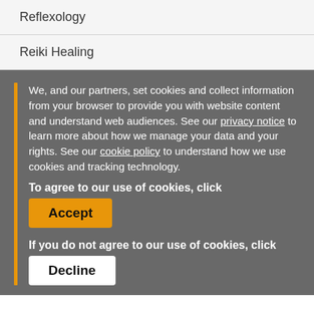Reflexology
Reiki Healing
We, and our partners, set cookies and collect information from your browser to provide you with website content and understand web audiences. See our privacy notice to learn more about how we manage your data and your rights. See our cookie policy to understand how we use cookies and tracking technology.
To agree to our use of cookies, click
Accept
If you do not agree to our use of cookies, click
Decline